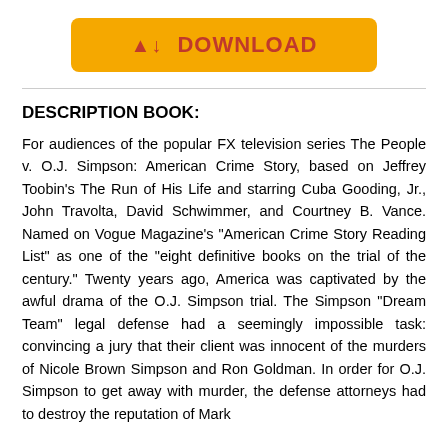[Figure (other): Yellow download button with cloud/download icon and text 'DOWNLOAD' in red/pink on an amber/yellow rounded rectangle background]
DESCRIPTION BOOK:
For audiences of the popular FX television series The People v. O.J. Simpson: American Crime Story, based on Jeffrey Toobin's The Run of His Life and starring Cuba Gooding, Jr., John Travolta, David Schwimmer, and Courtney B. Vance. Named on Vogue Magazine's "American Crime Story Reading List" as one of the "eight definitive books on the trial of the century." Twenty years ago, America was captivated by the awful drama of the O.J. Simpson trial. The Simpson "Dream Team" legal defense had a seemingly impossible task: convincing a jury that their client was innocent of the murders of Nicole Brown Simpson and Ron Goldman. In order for O.J. Simpson to get away with murder, the defense attorneys had to destroy the reputation of Mark